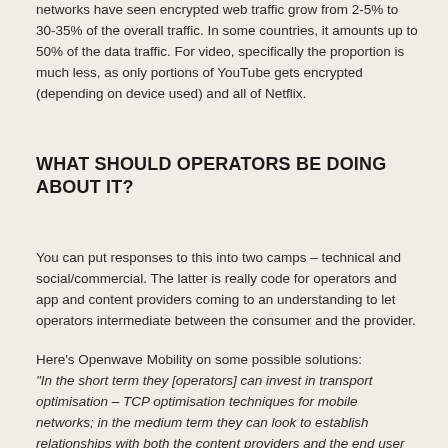networks have seen encrypted web traffic grow from 2-5% to 30-35% of the overall traffic. In some countries, it amounts up to 50% of the data traffic. For video, specifically the proportion is much less, as only portions of YouTube gets encrypted (depending on device used) and all of Netflix.
WHAT SHOULD OPERATORS BE DOING ABOUT IT?
You can put responses to this into two camps – technical and social/commercial. The latter is really code for operators and app and content providers coming to an understanding to let operators intermediate between the consumer and the provider.
Here's Openwave Mobility on some possible solutions:
"In the short term they [operators] can invest in transport optimisation – TCP optimisation techniques for mobile networks; in the medium term they can look to establish relationships with both the content providers and the end user for encrypted access (SSL)..."